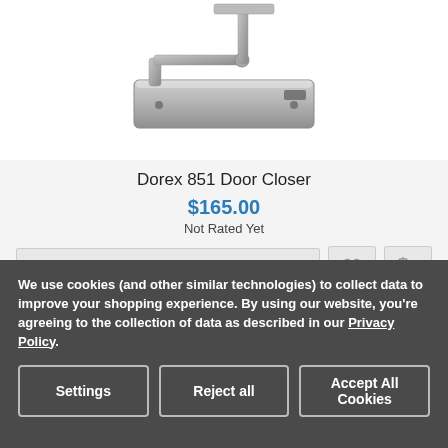[Figure (photo): Photo of a Dorex 851 Door Closer, a silver/grey metallic door closer hardware device shown at an angle.]
Dorex 851 Door Closer
$165.00
Not Rated Yet
Add To Cart
[Figure (photo): Photo of a grey metal safe with a combination lock on the front, partially visible at the bottom of the page.]
We use cookies (and other similar technologies) to collect data to improve your shopping experience. By using our website, you're agreeing to the collection of data as described in our Privacy Policy.
Settings
Reject all
Accept All Cookies